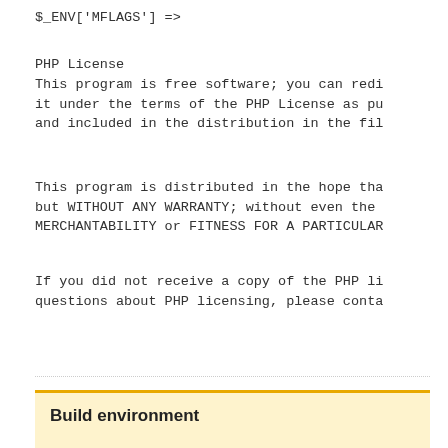$_ENV['MFLAGS'] =>
PHP License
This program is free software; you can redi
it under the terms of the PHP License as pu
and included in the distribution in the fil
This program is distributed in the hope tha
but WITHOUT ANY WARRANTY; without even the
MERCHANTABILITY or FITNESS FOR A PARTICULAR
If you did not receive a copy of the PHP li
questions about PHP licensing, please conta
Build environment